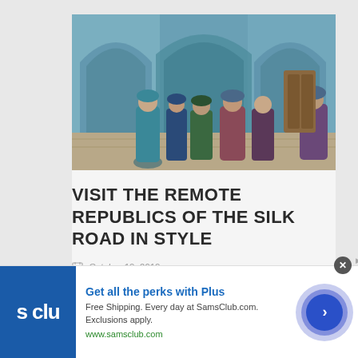[Figure (photo): People in traditional colorful clothing standing in front of ornate Islamic arched architecture with blue tilework, likely in Central Asia (Samarkand or similar Silk Road location)]
VISIT THE REMOTE REPUBLICS OF THE SILK ROAD IN STYLE
October 19, 2019
Golden Eagle Luxury Trains, the
[Figure (screenshot): Advertisement banner for Sam's Club - 'Get all the perks with Plus'. Free Shipping. Every day at SamsClub.com. Exclusions apply. www.samsclub.com]